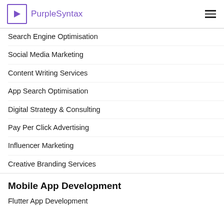PurpleSyntax
Search Engine Optimisation
Social Media Marketing
Content Writing Services
App Search Optimisation
Digital Strategy & Consulting
Pay Per Click Advertising
Influencer Marketing
Creative Branding Services
Mobile App Development
Flutter App Development